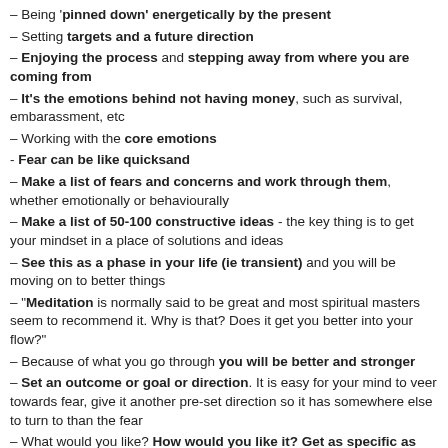– Being 'pinned down' energetically by the present
– Setting targets and a future direction
– Enjoying the process and stepping away from where you are coming from
– It's the emotions behind not having money, such as survival, embarassment, etc
– Working with the core emotions
- Fear can be like quicksand
– Make a list of fears and concerns and work through them, whether emotionally or behaviourally
– Make a list of 50-100 constructive ideas - the key thing is to get your mindset in a place of solutions and ideas
– See this as a phase in your life (ie transient) and you will be moving on to better things
– "Meditation is normally said to be great and most spiritual masters seem to recommend it. Why is that? Does it get you better into your flow?"
– Because of what you go through you will be better and stronger
– Set an outcome or goal or direction. It is easy for your mind to veer towards fear, give it another pre-set direction so it has somewhere else to turn to than the fear
– What would you like? How would you like it? Get as specific as